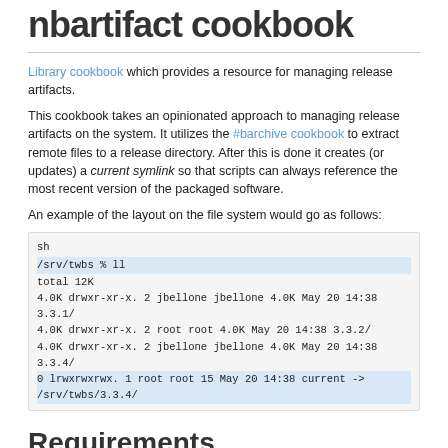nbartifact cookbook
Library cookbook which provides a resource for managing release artifacts.
This cookbook takes an opinionated approach to managing release artifacts on the system. It utilizes the #barchive cookbook to extract remote files to a release directory. After this is done it creates (or updates) a current symlink so that scripts can always reference the most recent version of the packaged software.
An example of the layout on the file system would go as follows:
sh
/srv/twbs % ll
total 12K
4.0K drwxr-xr-x. 2 jbellone jbellone 4.0K May 20 14:38 3.3.1/
4.0K drwxr-xr-x. 2 root root 4.0K May 20 14:38 3.3.2/
4.0K drwxr-xr-x. 2 jbellone jbellone 4.0K May 20 14:38 3.3.4/
0 lrwxrwxrwx. 1 root root 15 May 20 14:38 current -> /srv/twbs/3.3.4/
Requirements